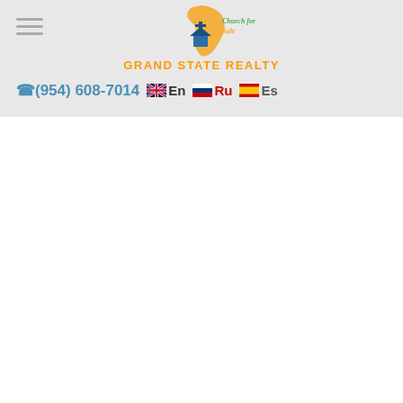[Figure (logo): Church for Sale logo with Florida state silhouette in gold/yellow, green italic text 'Church for Sale', and a house/church icon in blue]
GRAND STATE REALTY
(954) 608-7014  En  Ru  Es